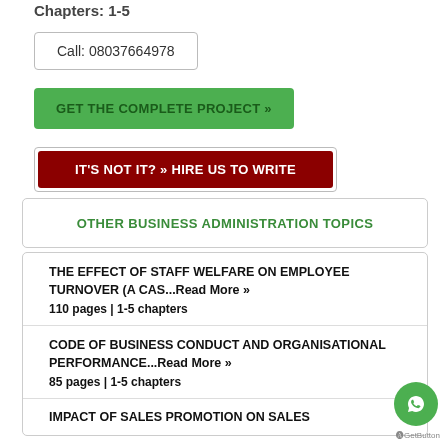Chapters: 1-5
Call: 08037664978
GET THE COMPLETE PROJECT »
IT'S NOT IT? » HIRE US TO WRITE
OTHER BUSINESS ADMINISTRATION TOPICS
THE EFFECT OF STAFF WELFARE ON EMPLOYEE TURNOVER (A CAS...Read More »
110 pages | 1-5 chapters
CODE OF BUSINESS CONDUCT AND ORGANISATIONAL PERFORMANCE...Read More »
85 pages | 1-5 chapters
IMPACT OF SALES PROMOTION ON SALES